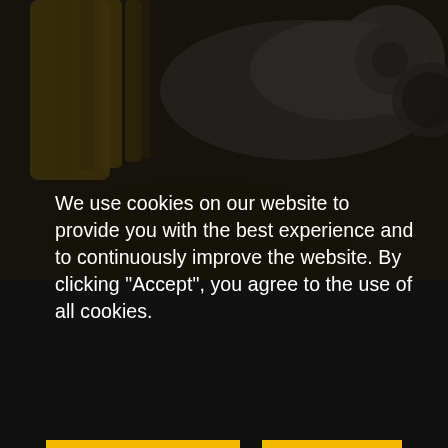[Figure (photo): Close-up photo of yellow-handled tools (wrenches/ratchets) and a metallic ratchet head with gears, dim/dark-toned industrial tool background]
We use cookies on our website to provide you with the best experience and to continuously improve the website. By clicking "Accept", you agree to the use of all cookies.
COOKIE SETTINGS
ACCEPT
Privacy Policy  Imprint